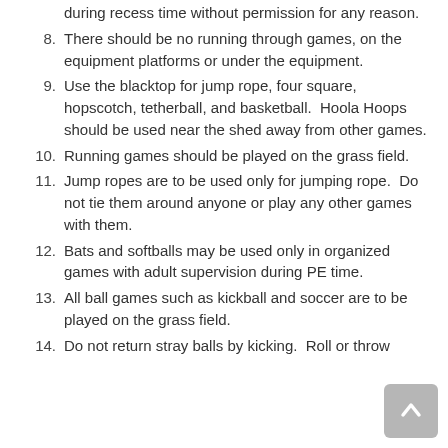7. are not allowed to return to their classroom during recess time without permission for any reason.
8. There should be no running through games, on the equipment platforms or under the equipment.
9. Use the blacktop for jump rope, four square, hopscotch, tetherball, and basketball.  Hoola Hoops should be used near the shed away from other games.
10. Running games should be played on the grass field.
11. Jump ropes are to be used only for jumping rope.  Do not tie them around anyone or play any other games with them.
12. Bats and softballs may be used only in organized games with adult supervision during PE time.
13. All ball games such as kickball and soccer are to be played on the grass field.
14. Do not return stray balls by kicking.  Roll or throw